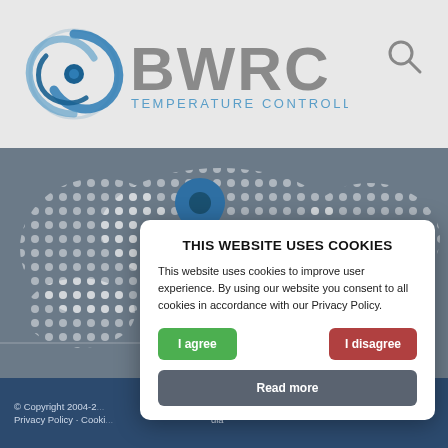[Figure (logo): BWRC Temperature Controlled Distribution logo with blue swirl icon and gray BWRC text]
[Figure (illustration): Map background with dotted world map pattern on gray background and blue location pin marker]
THIS WEBSITE USES COOKIES
This website uses cookies to improve user experience. By using our website you consent to all cookies in accordance with our Privacy Policy.
I agree
I disagree
Read more
© Copyright 2004-2... Privacy Policy · Cooki... dia